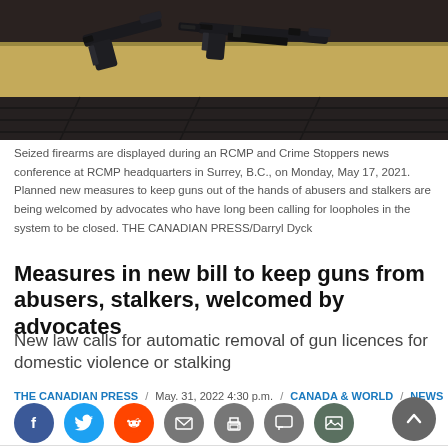[Figure (photo): Seized firearms displayed on a table during an RCMP and Crime Stoppers news conference at RCMP headquarters in Surrey, B.C.]
Seized firearms are displayed during an RCMP and Crime Stoppers news conference at RCMP headquarters in Surrey, B.C., on Monday, May 17, 2021. Planned new measures to keep guns out of the hands of abusers and stalkers are being welcomed by advocates who have long been calling for loopholes in the system to be closed. THE CANADIAN PRESS/Darryl Dyck
Measures in new bill to keep guns from abusers, stalkers, welcomed by advocates
New law calls for automatic removal of gun licences for domestic violence or stalking
THE CANADIAN PRESS / May. 31, 2022 4:30 p.m. / CANADA & WORLD / NEWS